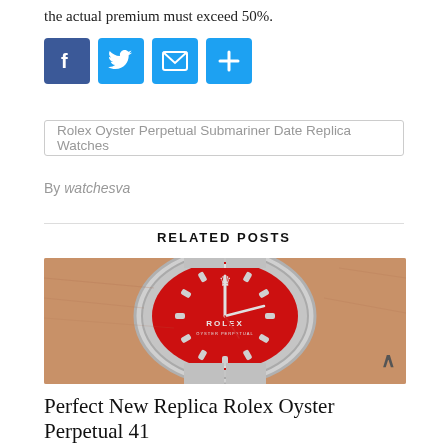the actual premium must exceed 50%.
[Figure (infographic): Four social sharing buttons: Facebook (f), Twitter (bird), Email (envelope), Share (+) — all in blue/rounded square style]
Rolex Oyster Perpetual Submariner Date Replica Watches
By watchesva
RELATED POSTS
[Figure (photo): Close-up photo of a Rolex watch with a red dial on a wrist. The watch face shows the Rolex crown logo and ROLEX text.]
Perfect New Replica Rolex Oyster Perpetual 41